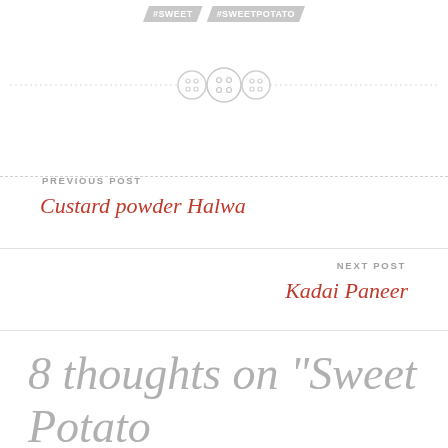#SWEET  #SWEETPOTATO
[Figure (illustration): Decorative divider with three button icons and dashed lines on either side]
PREVIOUS POST
Custard powder Halwa
NEXT POST
Kadai Paneer
8 thoughts on “Sweet Potato Gulab Jamun”